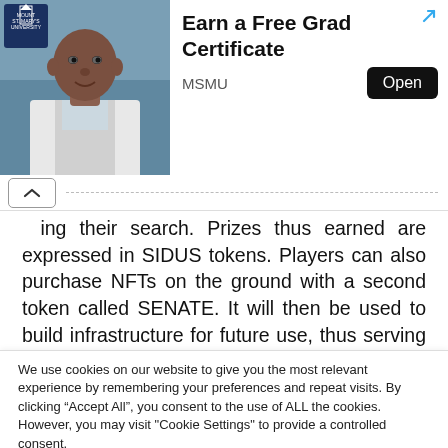[Figure (photo): Advertisement banner for Mount St. Mary's University. Left side shows a photo of a young Black man in a white coat against a blurred background. Right side shows ad text 'Earn a Free Grad Certificate', source 'MSMU', and an 'Open' button. An arrow-out icon appears in the top right.]
ing their search. Prizes thus earned are expressed in SIDUS tokens. Players can also purchase NFTs on the ground with a second token called SENATE. It will then be used to build infrastructure for future use, thus serving as passive income to their owner.
We use cookies on our website to give you the most relevant experience by remembering your preferences and repeat visits. By clicking "Accept All", you consent to the use of ALL the cookies. However, you may visit "Cookie Settings" to provide a controlled consent.
Cookie Settings
Accept All